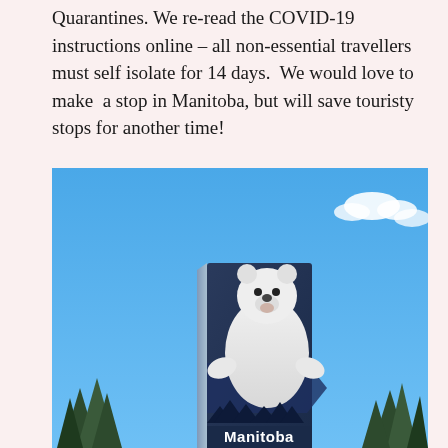Quarantines. We re-read the COVID-19 instructions online – all non-essential travellers must self isolate for 14 days.  We would love to make  a stop in Manitoba, but will save touristy stops for another time!
[Figure (photo): A Manitoba provincial welcome sign featuring a large polar bear image against a blue sky background. The sign reads 'Manitoba' at the bottom. Trees are visible at the bottom corners and some white clouds appear in the upper right.]